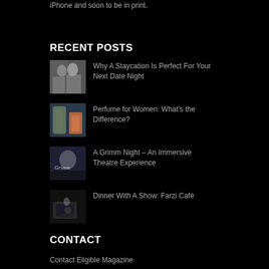iPhone and soon to be in print.
RECENT POSTS
Why A Staycation Is Perfect For Your Next Date Night
Perfume for Women: What's the Difference?
A Grimm Night – An Immersive Theatre Experience
Dinner With A Show: Farzi Café
CONTACT
Contact Eligible Magazine